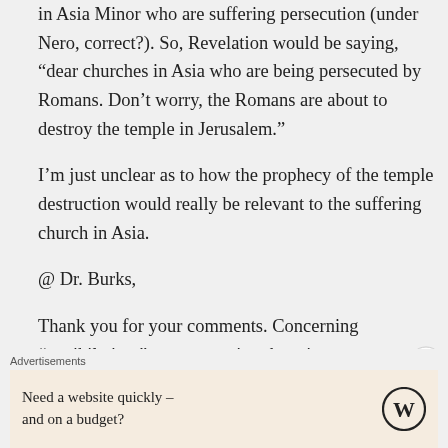in Asia Minor who are suffering persecution (under Nero, correct?). So, Revelation would be saying, “dear churches in Asia who are being persecuted by Romans. Don’t worry, the Romans are about to destroy the temple in Jerusalem.”
I’m just unclear as to how the prophecy of the temple destruction would really be relevant to the suffering church in Asia.
@ Dr. Burks,
Thank you for your comments. Concerning “annihilation,” are you saying there is zero
Advertisements
Need a website quickly – and on a budget?